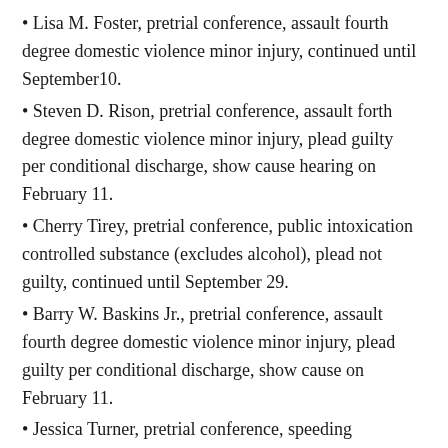Lisa M. Foster, pretrial conference, assault fourth degree domestic violence minor injury, continued until September10.
Steven D. Rison, pretrial conference, assault forth degree domestic violence minor injury, plead guilty per conditional discharge, show cause hearing on February 11.
Cherry Tirey, pretrial conference, public intoxication controlled substance (excludes alcohol), plead not guilty, continued until September 29.
Barry W. Baskins Jr., pretrial conference, assault fourth degree domestic violence minor injury, plead guilty per conditional discharge, show cause on February 11.
Jessica Turner, pretrial conference, speeding…